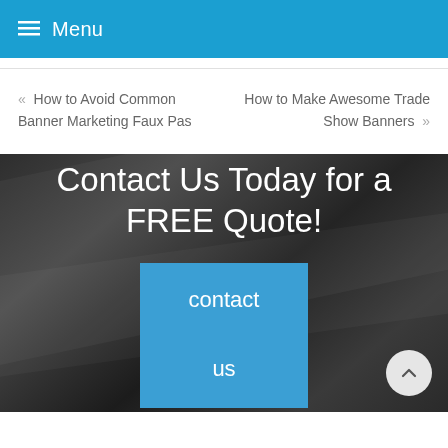≡ Menu
« How to Avoid Common Banner Marketing Faux Pas
How to Make Awesome Trade Show Banners »
Contact Us Today for a FREE Quote!
contact us